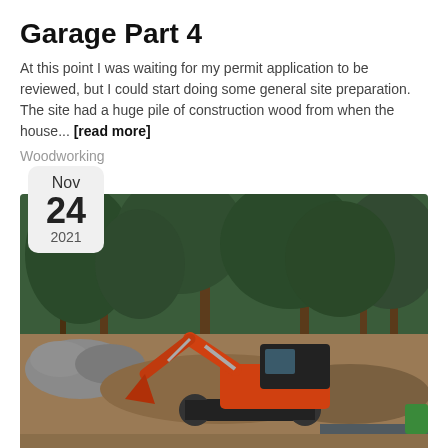Garage Part 4
At this point I was waiting for my permit application to be reviewed, but I could start doing some general site preparation. The site had a huge pile of construction wood from when the house... [read more]
Woodworking
[Figure (photo): An orange mini excavator (Kubota) on a dirt construction site with trees in the background, clearing land for a garage project. A date badge showing Nov 24 2021 is overlaid on the top-left of the image.]